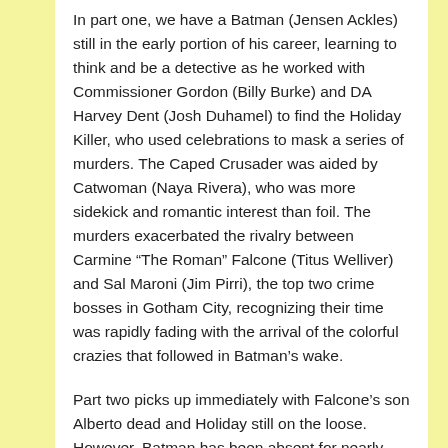In part one, we have a Batman (Jensen Ackles) still in the early portion of his career, learning to think and be a detective as he worked with Commissioner Gordon (Billy Burke) and DA Harvey Dent (Josh Duhamel) to find the Holiday Killer, who used celebrations to mask a series of murders. The Caped Crusader was aided by Catwoman (Naya Rivera), who was more sidekick and romantic interest than foil. The murders exacerbated the rivalry between Carmine “The Roman” Falcone (Titus Welliver) and Sal Maroni (Jim Pirri), the top two crime bosses in Gotham City, recognizing their time was rapidly fading with the arrival of the colorful crazies that followed in Batman’s wake.
Part two picks up immediately with Falcone’s son Alberto dead and Holiday still on the loose. However, Batman has been absent for nearly three months and oddly, Bruce Wayne has been deeding over properties to Falcone. We learn this a result of Poison Ivy (Katee Sackhoff) and it finally takes Catwoman to free him only